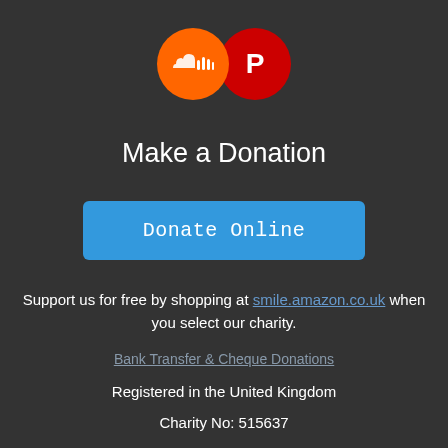[Figure (logo): SoundCloud orange circle logo and Pinterest red circle logo side by side]
Make a Donation
[Figure (other): Blue rounded rectangle button labeled 'Donate Online']
Support us for free by shopping at smile.amazon.co.uk when you select our charity.
Bank Transfer & Cheque Donations
Registered in the United Kingdom
Charity No: 515637